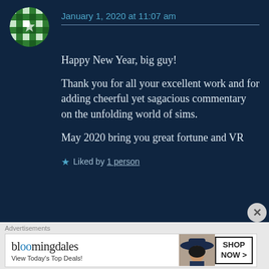[Figure (illustration): Circular avatar with green and white geometric/checkered pattern on dark navy background]
January 1, 2020 at 11:07 am
Happy New Year, big guy!
Thank you for all your excellent work and for adding cheerful yet sagacious commentary on the unfolding world of sims.
May 2020 bring you great fortune and VR
★ Liked by 1 person
Advertisements
[Figure (screenshot): Bloomingdale's advertisement banner: logo text, tagline 'View Today's Top Deals!', woman with wide brim hat, SHOP NOW > button]